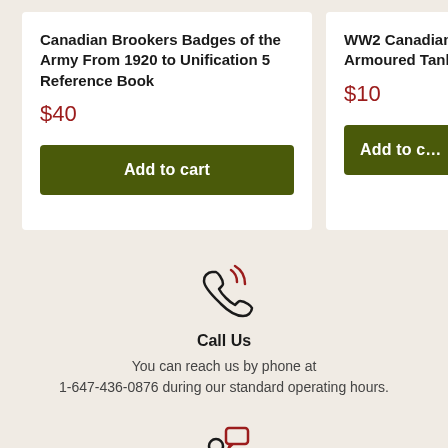Canadian Brookers Badges of the Army From 1920 to Unification 5 Reference Book
$40
Add to cart
WW2 Canadian Serv... Armoured Tank Refe...
$10
Add to c...
[Figure (illustration): Phone handset icon with signal waves, indicating a call us feature]
Call Us
You can reach us by phone at 1-647-436-0876 during our standard operating hours.
[Figure (illustration): Person silhouette with a chat bubble icon, indicating a contact/chat feature]